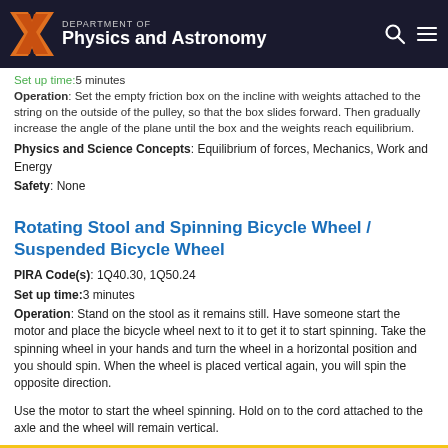Department of Physics and Astronomy
Set up time:5 minutes
Operation: Set the empty friction box on the incline with weights attached to the string on the outside of the pulley, so that the box slides forward. Then gradually increase the angle of the plane until the box and the weights reach equilibrium.
Physics and Science Concepts: Equilibrium of forces, Mechanics, Work and Energy
Safety: None
Rotating Stool and Spinning Bicycle Wheel / Suspended Bicycle Wheel
PIRA Code(s): 1Q40.30, 1Q50.24
Set up time:3 minutes
Operation: Stand on the stool as it remains still. Have someone start the motor and place the bicycle wheel next to it to get it to start spinning. Take the spinning wheel in your hands and turn the wheel in a horizontal position and you should spin. When the wheel is placed vertical again, you will spin the opposite direction.
Use the motor to start the wheel spinning. Hold on to the cord attached to the axle and the wheel will remain vertical.
Physics and Science Concepts: Mechanics, Rotational Dynamics